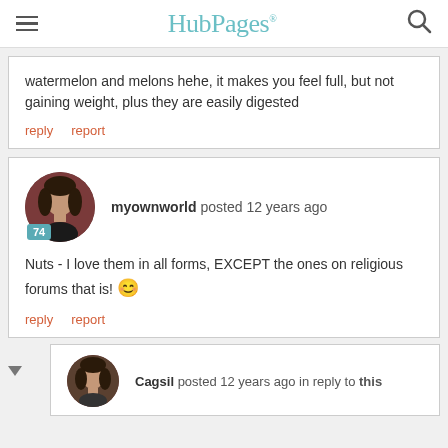HubPages
watermelon and melons hehe, it makes you feel full, but not gaining weight, plus they are easily digested
reply   report
[Figure (photo): Avatar of user myownworld — woman with dark hair, circular profile photo with badge showing 74]
myownworld posted 12 years ago
Nuts - I love them in all forms, EXCEPT the ones on religious forums that is! 😊
reply   report
[Figure (photo): Avatar of user Cagsil — circular profile photo]
Cagsil posted 12 years ago in reply to this